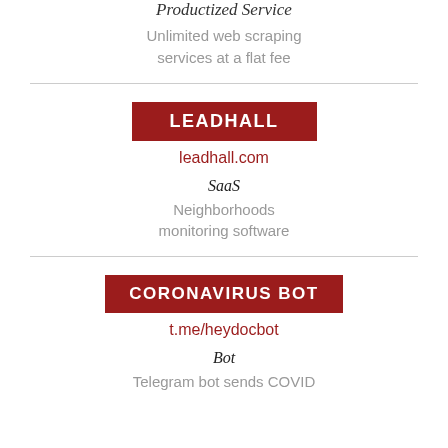Productized Service
Unlimited web scraping services at a flat fee
LEADHALL
leadhall.com
SaaS
Neighborhoods monitoring software
CORONAVIRUS BOT
t.me/heydocbot
Bot
Telegram bot sends COVID